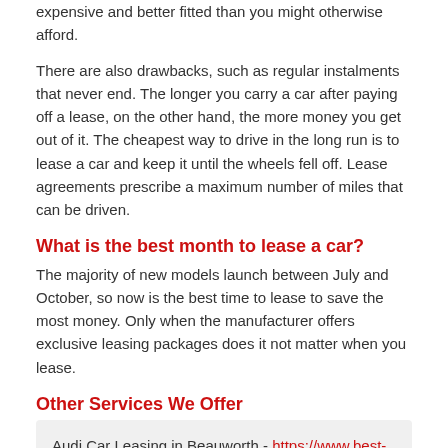expensive and better fitted than you might otherwise afford.
There are also drawbacks, such as regular instalments that never end. The longer you carry a car after paying off a lease, on the other hand, the more money you get out of it. The cheapest way to drive in the long run is to lease a car and keep it until the wheels fell off. Lease agreements prescribe a maximum number of miles that can be driven.
What is the best month to lease a car?
The majority of new models launch between July and October, so now is the best time to lease to save the most money. Only when the manufacturer offers exclusive leasing packages does it not matter when you lease.
Other Services We Offer
Audi Car Leasing in Beauworth - https://www.best-car-lease-deals.co.uk/brands/audi/hampshire/beauworth/
Business Car Finance in Beauworth - https://www.best-car-lease-deals.co.uk/finance/business/hampshire/beauworth/